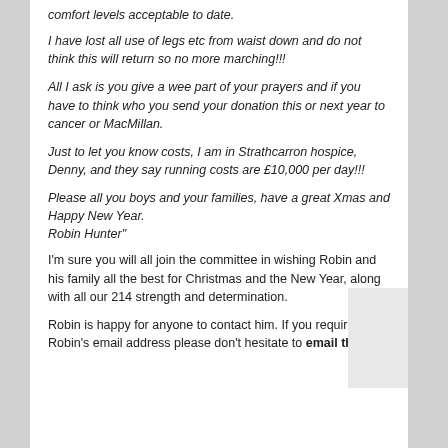comfort levels acceptable to date.
I have lost all use of legs etc from waist down and do not think this will return so no more marching!!!
All I ask is you give a wee part of your prayers and if you have to think who you send your donation this or next year to cancer or MacMillan.
Just to let you know costs, I am in Strathcarron hospice, Denny, and they say running costs are £10,000 per day!!!
Please all you boys and your families, have a great Xmas and Happy New Year.
Robin Hunter"
I'm sure you will all join the committee in wishing Robin and his family all the best for Christmas and the New Year, along with all our 214 strength and determination.
Robin is happy for anyone to contact him. If you require Robin's email address please don't hesitate to email the